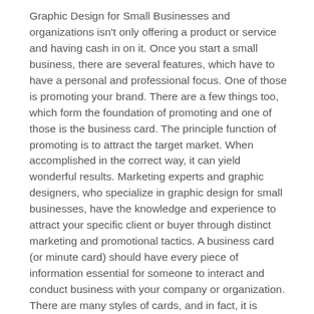Graphic Design for Small Businesses and organizations isn't only offering a product or service and having cash in on it. Once you start a small business, there are several features, which have to have a personal and professional focus. One of those is promoting your brand. There are a few things too, which form the foundation of promoting and one of those is the business card. The principle function of promoting is to attract the target market. When accomplished in the correct way, it can yield wonderful results. Marketing experts and graphic designers, who specialize in graphic design for small businesses, have the knowledge and experience to attract your specific client or buyer through distinct marketing and promotional tactics. A business card (or minute card) should have every piece of information essential for someone to interact and conduct business with your company or organization. There are many styles of cards, and in fact, it is necessary to decide on the appropriate style for your firm. This is why hiring a professional whom specializes in graphic design for small businesses is so